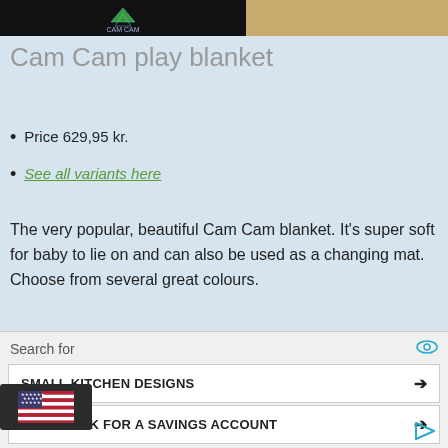[Figure (photo): Top strip showing partial product images - left dark background with logo, right sandy/beige texture]
Cam Cam play blanket
Price 629,95 kr.
See all variants here
The very popular, beautiful Cam Cam blanket. It's super soft for baby to lie on and can also be used as a changing mat. Choose from several great colours.
Luxury carpet from Moulin Roty - with wild animals
1.299,95 kr.
[Figure (photo): Baby play gym arch with hanging colorful animal toys]
Search for
SMALL KITCHEN DESIGNS
BEST BANK FOR A SAVINGS ACCOUNT